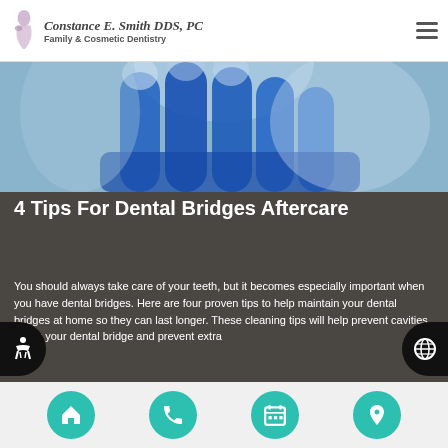Constance E. Smith DDS, PC — Family & Cosmetic Dentistry
[Figure (photo): Close-up of blue dental/medical gloved hands]
4 Tips For Dental Bridges Aftercare
You should always take care of your teeth, but it becomes especially important when you have dental bridges. Here are four proven tips to help maintain your dental bridges at home so they can last longer. These cleaning tips will help prevent cavities under your dental bridge and prevent extra
Navigation: Home | Phone | Calendar | Location